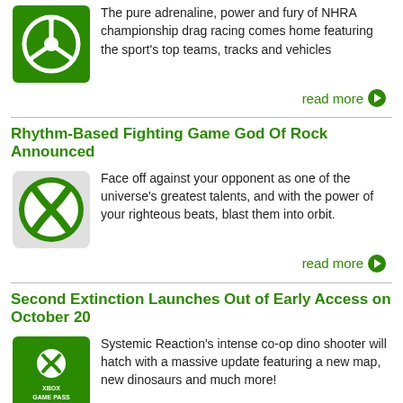The pure adrenaline, power and fury of NHRA championship drag racing comes home featuring the sport's top teams, tracks and vehicles
read more
Rhythm-Based Fighting Game God Of Rock Announced
Face off against your opponent as one of the universe's greatest talents, and with the power of your righteous beats, blast them into orbit.
read more
Second Extinction Launches Out of Early Access on October 20
Systemic Reaction's intense co-op dino shooter will hatch with a massive update featuring a new map, new dinosaurs and much more!
read more